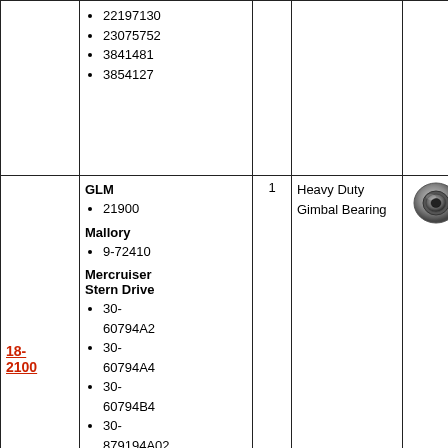| Part # | OEM Part Numbers | Qty | Description | Image | Price |
| --- | --- | --- | --- | --- | --- |
|  | • 22197130
• 23075752
• 3841481
• 3854127 |  |  |  |  |
| 18-2100 | GLM
• 21900
Mallory
• 9-72410
Mercruiser Stern Drive
• 30-60794A2
• 30-60794A4
• 30-60794B4
• 30-879194A02
OMC Stern Drive
• 3853807
• 983937 | 1 | Heavy Duty Gimbal Bearing | [image] | N/A |